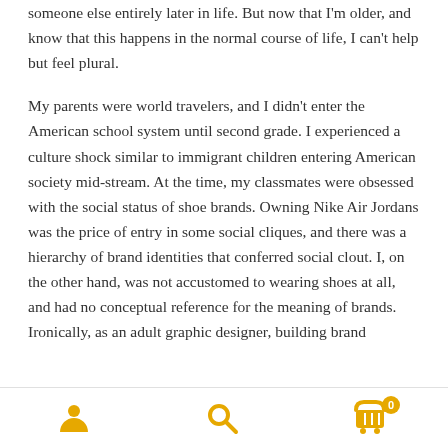someone else entirely later in life. But now that I'm older, and know that this happens in the normal course of life, I can't help but feel plural.
My parents were world travelers, and I didn't enter the American school system until second grade. I experienced a culture shock similar to immigrant children entering American society mid-stream. At the time, my classmates were obsessed with the social status of shoe brands. Owning Nike Air Jordans was the price of entry in some social cliques, and there was a hierarchy of brand identities that conferred social clout. I, on the other hand, was not accustomed to wearing shoes at all, and had no conceptual reference for the meaning of brands. Ironically, as an adult graphic designer, building brand
Navigation bar with person icon, search icon, and shopping cart icon with badge showing 0